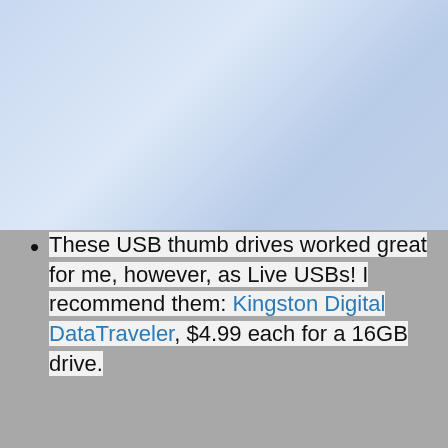[Figure (photo): Background photo showing a blueish urban/street scene with Japanese signage in the upper half, and a gray background in the lower half]
nything!
These USB thumb drives worked great for me, however, as Live USBs! I recommend them: Kingston Digital DataTraveler, $4.99 each for a 16GB drive.